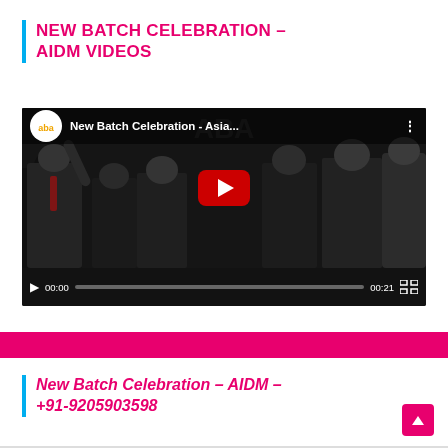NEW BATCH CELEBRATION – AIDM VIDEOS
[Figure (screenshot): YouTube video player showing 'New Batch Celebration - Asia...' with crowd of people at a celebration event. Shows play button overlay, progress bar at 00:00 of 00:21 duration, and fullscreen button.]
New Batch Celebration – AIDM – +91-9205903598